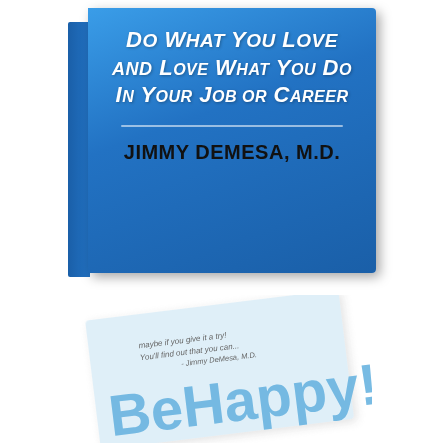[Figure (illustration): Book cover with blue gradient background. Title text reads 'Do What You Love and Love What You Do In Your Job or Career' in white italic bold font. Author name 'JIMMY DEMESA, M.D.' in black bold text. Below is a sticky note with 'BeHappy!' written in blue handwriting style, with small cursive text above it.]